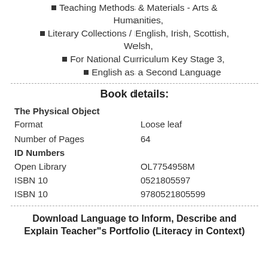Teaching Methods & Materials - Arts & Humanities,
Literary Collections / English, Irish, Scottish, Welsh,
For National Curriculum Key Stage 3,
English as a Second Language
Book details:
|  |  |
| --- | --- |
| The Physical Object |  |
| Format | Loose leaf |
| Number of Pages | 64 |
| ID Numbers |  |
| Open Library | OL7754958M |
| ISBN 10 | 0521805597 |
| ISBN 10 | 9780521805599 |
Download Language to Inform, Describe and Explain Teacher"s Portfolio (Literacy in Context)